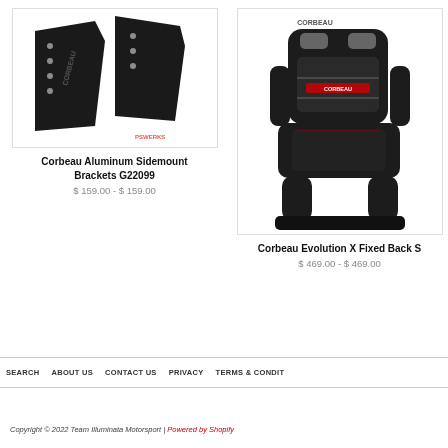[Figure (photo): Corbeau aluminum sidemount brackets G22099 - black metal bracket set with CORBEAU branding, shown against white background with PSWERKS watermark]
Corbeau Aluminum Sidemount Brackets G22099
$ 159.00 - $ 159.00
[Figure (photo): Corbeau Evolution X Fixed Back Seat - black leather racing seat with CORBEAU branding and red accent stitching/logo, shown at angle]
Corbeau Evolution X Fixed Back S
$ 469.00 - $ 469.00
SEARCH   ABOUT US   CONTACT US   PRIVACY   TERMS & CONDIT
Copyright © 2022 Team Illuminata Motorsport | Powered by Shopify